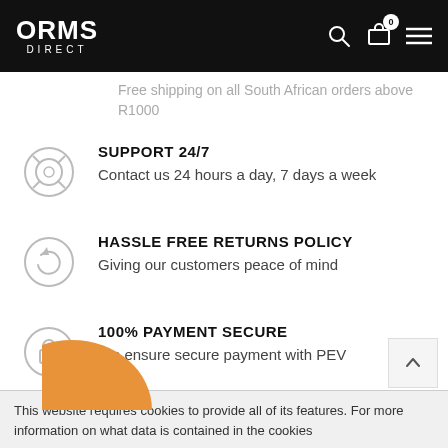ORMS DIRECT
Free shipping on all South African orders above R1000
SUPPORT 24/7
Contact us 24 hours a day, 7 days a week
HASSLE FREE RETURNS POLICY
Giving our customers peace of mind
100% PAYMENT SECURE
We ensure secure payment with PEV
This website requires cookies to provide all of its features. For more information on what data is contained in the cookies